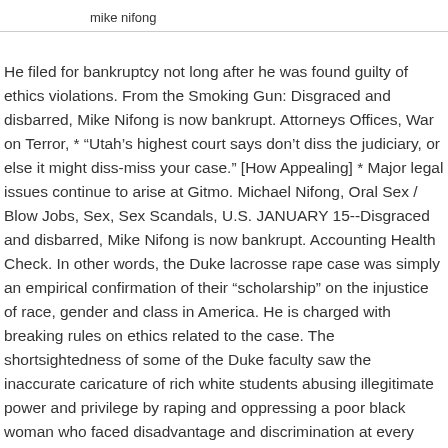mike nifong
He filed for bankruptcy not long after he was found guilty of ethics violations. From the Smoking Gun: Disgraced and disbarred, Mike Nifong is now bankrupt. Attorneys Offices, War on Terror, * “Utah’s highest court says don’t diss the judiciary, or else it might diss-miss your case.” [How Appealing] * Major legal issues continue to arise at Gitmo. Michael Nifong, Oral Sex / Blow Jobs, Sex, Sex Scandals, U.S. JANUARY 15--Disgraced and disbarred, Mike Nifong is now bankrupt. Accounting Health Check. In other words, the Duke lacrosse rape case was simply an empirical confirmation of their "scholarship" on the injustice of race, gender and class in America. He is charged with breaking rules on ethics related to the case. The shortsightedness of some of the Duke faculty saw the inaccurate caricature of rich white students abusing illegitimate power and privilege by raping and oppressing a poor black woman who faced disadvantage and discrimination at every